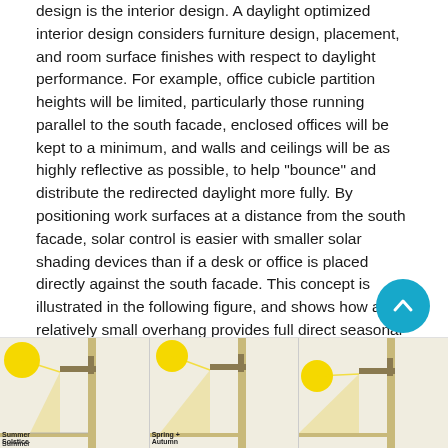design is the interior design. A daylight optimized interior design considers furniture design, placement, and room surface finishes with respect to daylight performance. For example, office cubicle partition heights will be limited, particularly those running parallel to the south facade, enclosed offices will be kept to a minimum, and walls and ceilings will be as highly reflective as possible, to help "bounce" and distribute the redirected daylight more fully. By positioning work surfaces at a distance from the south facade, solar control is easier with smaller solar shading devices than if a desk or office is placed directly against the south facade. This concept is illustrated in the following figure, and shows how a relatively small overhang provides full direct seasonal solar protection to the workspace. The area immediately adjacent to the south facade is circulation space.
[Figure (illustration): Three architectural cross-section diagrams showing solar shading at Summer Solstice, Spring/Autumn, and a third season. Each panel shows a sun symbol, building facade with overhang, and diagonal lines indicating solar angles and shading coverage of the workspace.]